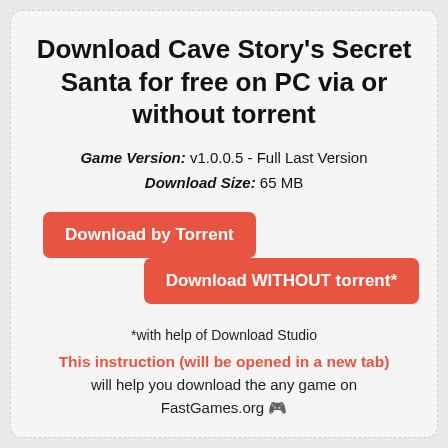Download Cave Story's Secret Santa for free on PC via or without torrent
Game Version: v1.0.0.5 - Full Last Version
Download Size: 65 MB
[Figure (other): Two red download buttons: 'Download by Torrent' and 'Download WITHOUT torrent*' staggered vertically]
*with help of Download Studio
This instruction (will be opened in a new tab) will help you download the any game on FastGames.org 🎮